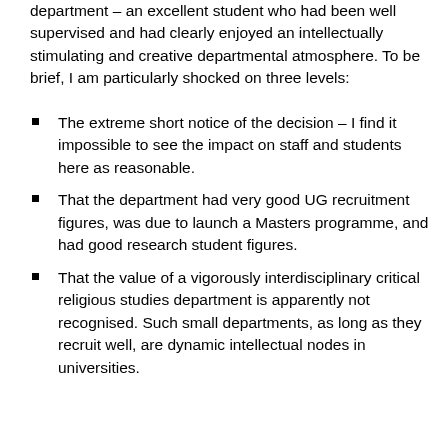department – an excellent student who had been well supervised and had clearly enjoyed an intellectually stimulating and creative departmental atmosphere. To be brief, I am particularly shocked on three levels:
The extreme short notice of the decision – I find it impossible to see the impact on staff and students here as reasonable.
That the department had very good UG recruitment figures, was due to launch a Masters programme, and had good research student figures.
That the value of a vigorously interdisciplinary critical religious studies department is apparently not recognised. Such small departments, as long as they recruit well, are dynamic intellectual nodes in universities.